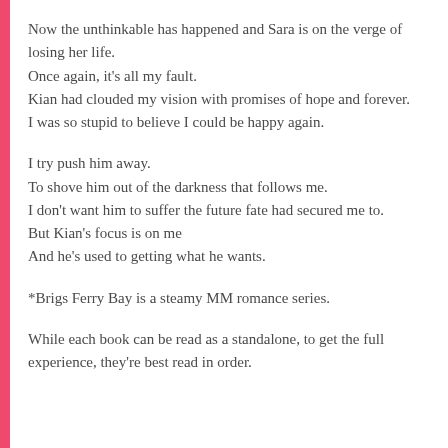Now the unthinkable has happened and Sara is on the verge of losing her life.
Once again, it's all my fault.
Kian had clouded my vision with promises of hope and forever.
I was so stupid to believe I could be happy again.
I try push him away.
To shove him out of the darkness that follows me.
I don't want him to suffer the future fate had secured me to.
But Kian's focus is on me
And he's used to getting what he wants.
*Brigs Ferry Bay is a steamy MM romance series.
While each book can be read as a standalone, to get the full experience, they're best read in order.